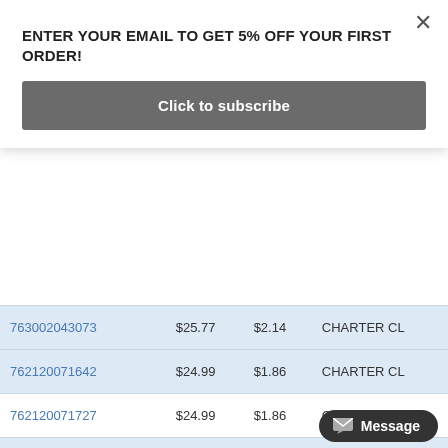ENTER YOUR EMAIL TO GET 5% OFF YOUR FIRST ORDER!
Click to subscribe
| ID |  | Price | Tax | Provider |
| --- | --- | --- | --- | --- |
| 763002043073 |  | $25.77 | $2.14 | CHARTER CL |
| 762120071642 |  | $24.99 | $1.86 | CHARTER CL |
| 762120071727 |  | $24.99 | $1.86 | CHARTER CL |
| 733002038312 |  | $19.99 | $1.53 | CHARTER CL |
| 733002037889 |  | $19.99 | $1.44 | CHARTER CL |
| 790812827598 |  | $54.0 | $ | LE |
Message